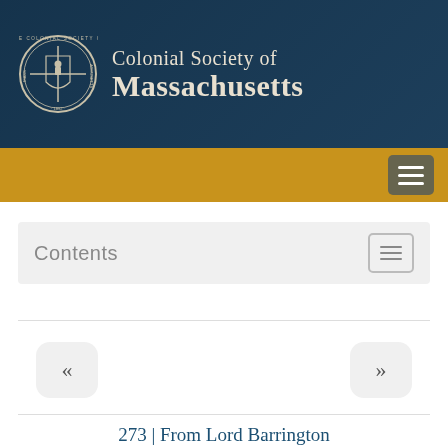[Figure (logo): Colonial Society of Massachusetts header banner with circular seal logo on left and organization name text on right, dark blue/teal background]
Colonial Society of Massachusetts
Contents
« »
273 | From Lord Barrington